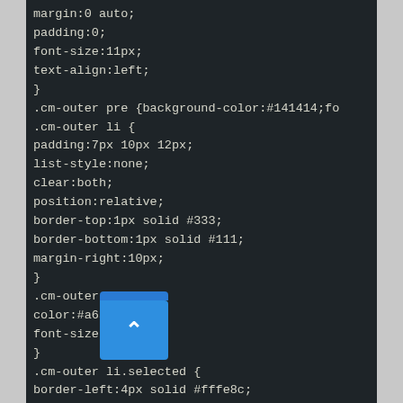[Figure (screenshot): A dark-themed code editor screenshot showing CSS code with properties including margin, padding, font-size, text-align, .cm-outer selectors for pre, li, code, li.selected, li:first-child, and li:last-child rules. A blue UI button with an up-arrow chevron overlays the bottom-left corner.]